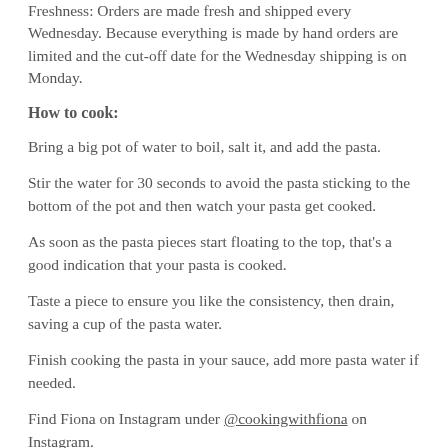Freshness: Orders are made fresh and shipped every Wednesday. Because everything is made by hand orders are limited and the cut-off date for the Wednesday shipping is on Monday.
How to cook:
Bring a big pot of water to boil, salt it, and add the pasta.
Stir the water for 30 seconds to avoid the pasta sticking to the bottom of the pot and then watch your pasta get cooked.
As soon as the pasta pieces start floating to the top, that's a good indication that your pasta is cooked.
Taste a piece to ensure you like the consistency, then drain, saving a cup of the pasta water.
Finish cooking the pasta in your sauce, add more pasta water if needed.
Find Fiona on Instagram under @cookingwithfiona on Instagram.